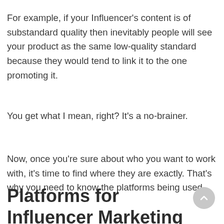For example, if your Influencer's content is of substandard quality then inevitably people will see your product as the same low-quality standard because they would tend to link it to the one promoting it.
You get what I mean, right? It's a no-brainer.
Now, once you're sure about who you want to work with, it's time to find where they are exactly. That's why you need to know the platforms being used.
Platforms for Influencer Marketing